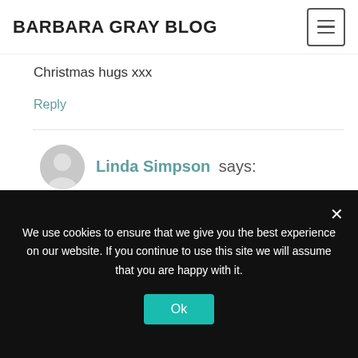BARBARA GRAY BLOG
Christmas hugs xxx
Reply
Linda Simpson says:
23rd December 2016 at 9:44 pm
Looks like you all had a
We use cookies to ensure that we give you the best experience on our website. If you continue to use this site we will assume that you are happy with it.
Ok